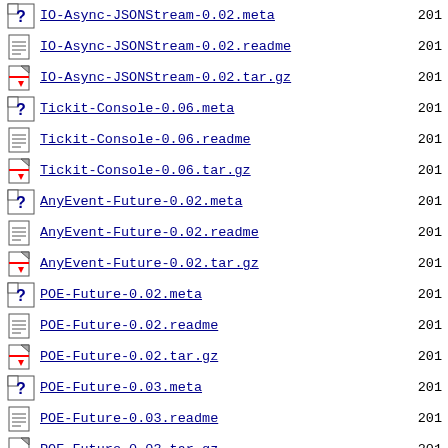IO-Async-JSONStream-0.02.meta  201
IO-Async-JSONStream-0.02.readme  201
IO-Async-JSONStream-0.02.tar.gz  201
Tickit-Console-0.06.meta  201
Tickit-Console-0.06.readme  201
Tickit-Console-0.06.tar.gz  201
AnyEvent-Future-0.02.meta  201
AnyEvent-Future-0.02.readme  201
AnyEvent-Future-0.02.tar.gz  201
POE-Future-0.02.meta  201
POE-Future-0.02.readme  201
POE-Future-0.02.tar.gz  201
POE-Future-0.03.meta  201
POE-Future-0.03.readme  201
POE-Future-0.03.tar.gz  201
Net-Async-SOCKS-0.003.readme  201
circle-be-0.142470.meta  201
circle-be-0.142470.readme  201